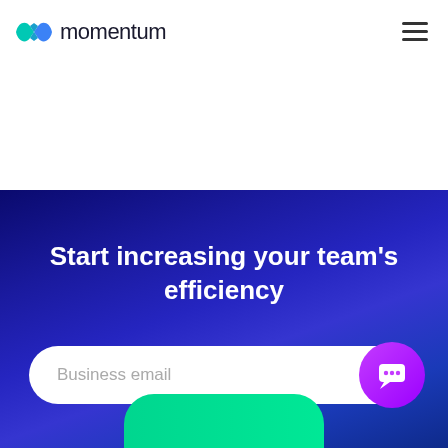[Figure (logo): Momentum logo with teal/blue butterfly-bow icon and 'momentum' wordmark in dark text]
Start increasing your team's efficiency
Business email
[Figure (illustration): Purple circular chat/support button with white speech bubble icon]